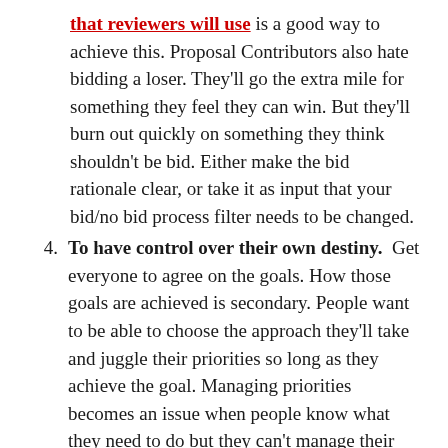that reviewers will use is a good way to achieve this. Proposal Contributors also hate bidding a loser. They'll go the extra mile for something they feel they can win. But they'll burn out quickly on something they think shouldn't be bid. Either make the bid rationale clear, or take it as input that your bid/no bid process filter needs to be changed.
4. To have control over their own destiny. Get everyone to agree on the goals. How those goals are achieved is secondary. People want to be able to choose the approach they'll take and juggle their priorities so long as they achieve the goal. Managing priorities becomes an issue when people know what they need to do but they can't manage their time. Transparency, coordination, and helpful alternatives work better than pressure.
5. To create a better future. A proposal creates